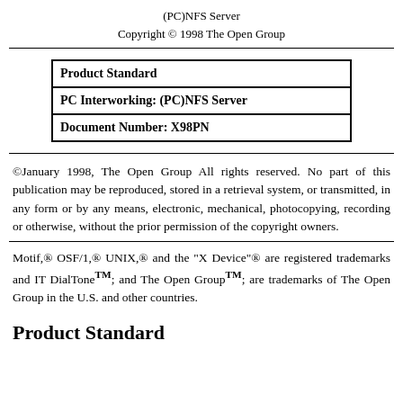(PC)NFS Server
Copyright © 1998 The Open Group
| Product Standard |
| PC Interworking: (PC)NFS Server |
| Document Number: X98PN |
©January 1998, The Open Group All rights reserved. No part of this publication may be reproduced, stored in a retrieval system, or transmitted, in any form or by any means, electronic, mechanical, photocopying, recording or otherwise, without the prior permission of the copyright owners.
Motif,® OSF/1,® UNIX,® and the "X Device"® are registered trademarks and IT DialTone™; and The Open Group™; are trademarks of The Open Group in the U.S. and other countries.
Product Standard